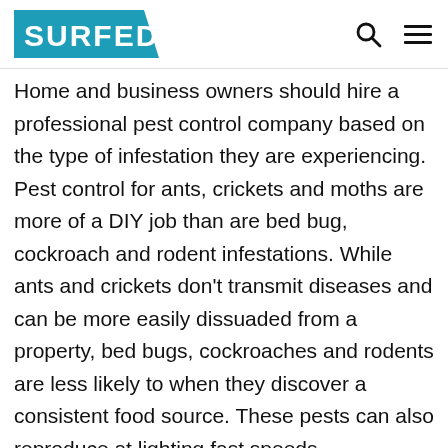SURFED
Home and business owners should hire a professional pest control company based on the type of infestation they are experiencing. Pest control for ants, crickets and moths are more of a DIY job than are bed bug, cockroach and rodent infestations. While ants and crickets don’t transmit diseases and can be more easily dissuaded from a property, bed bugs, cockroaches and rodents are less likely to when they discover a consistent food source. These pests can also reproduce at lighting fast speeds.
Hiring a professional pest control company is usually